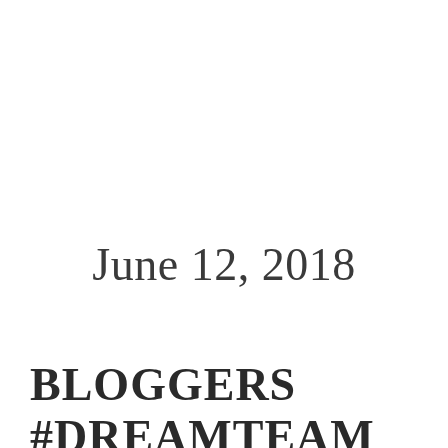June 12, 2018
BLOGGERS
#DREAMTEAM